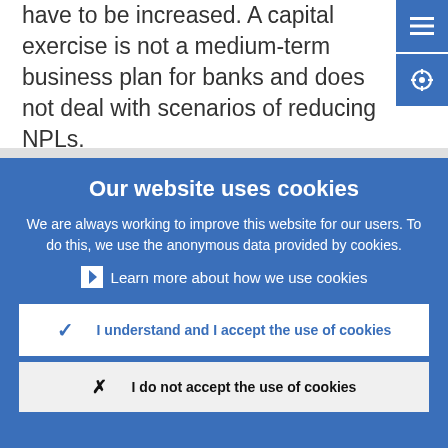have to be increased. A capital exercise is not a medium-term business plan for banks and does not deal with scenarios of reducing NPLs.
Our website uses cookies
We are always working to improve this website for our users. To do this, we use the anonymous data provided by cookies.
Learn more about how we use cookies
I understand and I accept the use of cookies
I do not accept the use of cookies